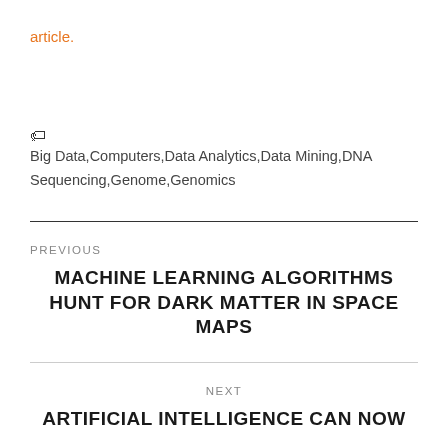article.
🏷 Big Data,Computers,Data Analytics,Data Mining,DNA Sequencing,Genome,Genomics
PREVIOUS
MACHINE LEARNING ALGORITHMS HUNT FOR DARK MATTER IN SPACE MAPS
NEXT
ARTIFICIAL INTELLIGENCE CAN NOW